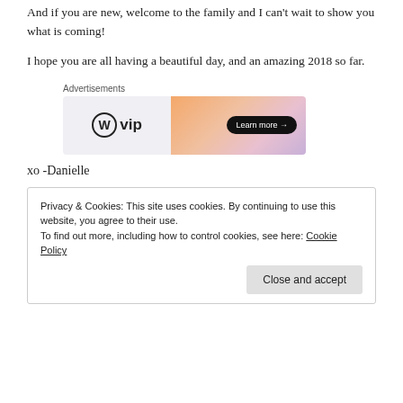And if you are new, welcome to the family and I can’t wait to show you what is coming!
I hope you are all having a beautiful day, and an amazing 2018 so far.
[Figure (other): WordPress VIP advertisement banner with 'Learn more →' button on orange/pink gradient background]
xo -Danielle
Privacy & Cookies: This site uses cookies. By continuing to use this website, you agree to their use.
To find out more, including how to control cookies, see here: Cookie Policy